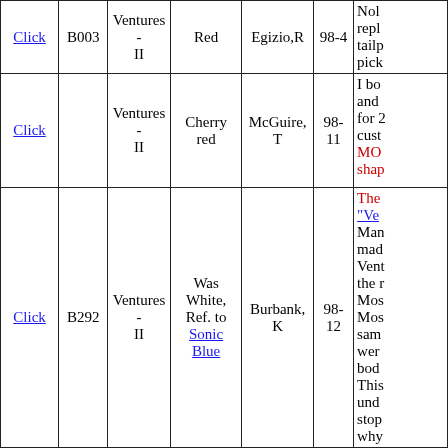|  |  | Model | Color | Owner | Year | Notes |
| --- | --- | --- | --- | --- | --- | --- |
| Click | B003 | Ventures-II | Red | Egizio,R | 98-4 | Nol repl tailp pick |
| Click |  | Ventures-II | Cherry red | McGuire,T | 98-11 | I bor and for 2 cust MO shap |
| Click | B292 | Ventures-II | Was White, Ref. to Sonic Blue | Burbank,K | 98-12 | The "Ve Man mad Ven the r Mos Mos sam wer bod This und stop why |